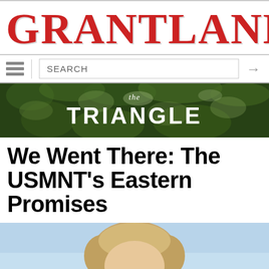GRANTLAND
[Figure (screenshot): Navigation bar with hamburger menu, search box, and arrow button]
[Figure (illustration): The Triangle banner with grass background and stylized text reading 'the TRIANGLE']
We Went There: The USMNT's Eastern Promises
[Figure (photo): Partial photo of a person with blonde hair against a light blue sky background]